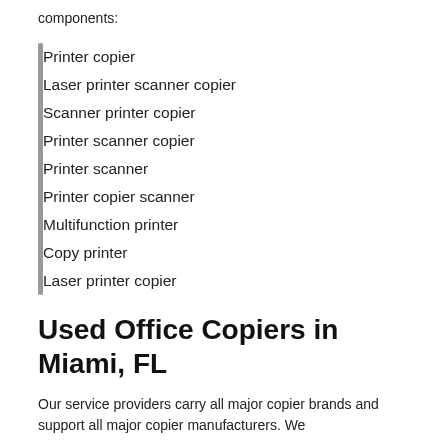components:
Printer copier
Laser printer scanner copier
Scanner printer copier
Printer scanner copier
Printer scanner
Printer copier scanner
Multifunction printer
Copy printer
Laser printer copier
Used Office Copiers in Miami, FL
Our service providers carry all major copier brands and support all major copier manufacturers. We